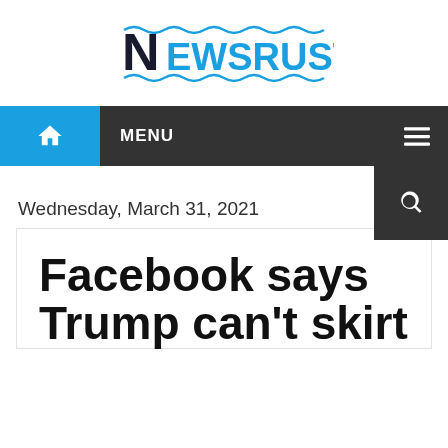[Figure (logo): NewsRust logo — stylized N in dark blue/black followed by EWSRUST in blue, with wavy underline decoration]
MENU
Wednesday, March 31, 2021
Facebook says Trump can't skirt